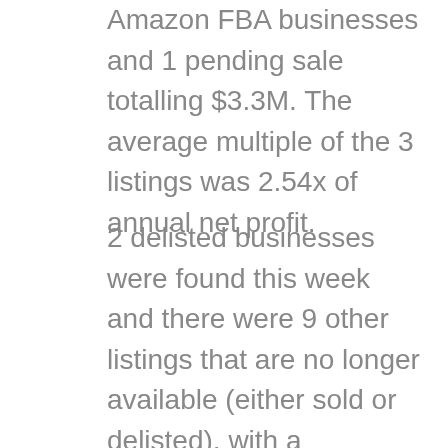Amazon FBA businesses and 1 pending sale totalling $3.3M. The average multiple of the 3 listings was 2.54x of annual net profit.
2 delisted businesses were found this week and there were 9 other listings that are no longer available (either sold or delisted), with a combined list price value of $1.6MM.